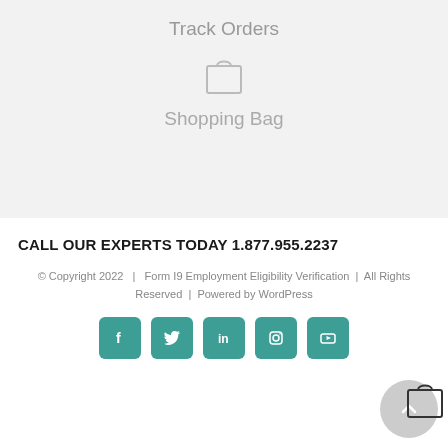Track Orders
[Figure (illustration): Shopping bag icon (outline)]
Shopping Bag
CALL OUR EXPERTS TODAY 1.877.955.2237
© Copyright 2022   |   Form I9 Employment Eligibility Verification   |   All Rights Reserved   |   Powered by WordPress
[Figure (illustration): Social media icons: Facebook, Twitter, LinkedIn, Instagram, YouTube (teal rounded square buttons)]
[Figure (illustration): Back to top button (circle with upward chevron) and floating cart icon]